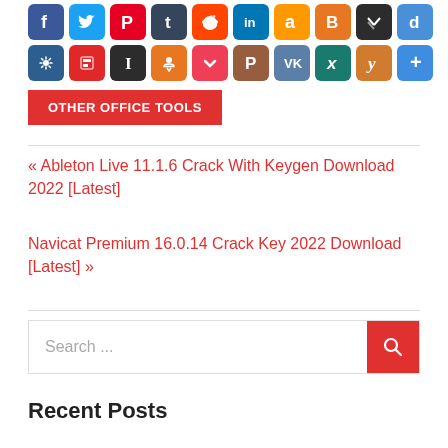[Figure (other): Two rows of social media sharing icon buttons: Facebook, Twitter, Pinterest, Tumblr, Reddit, LinkedIn, Amazon, Blogger, Mix, Digg, SumoMe, Flipboard, Instapaper, Odnoklassniki, Pocket, Plurk, VK, XING, Yummly, More]
OTHER OFFICE TOOLS
« Ableton Live 11.1.6 Crack With Keygen Download 2022 [Latest]
Navicat Premium 16.0.14 Crack Key 2022 Download [Latest] »
Search ...
Recent Posts